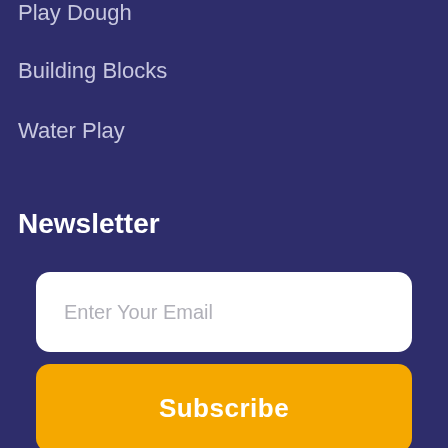Play Dough
Building Blocks
Water Play
Newsletter
Enter Your Email
Subscribe